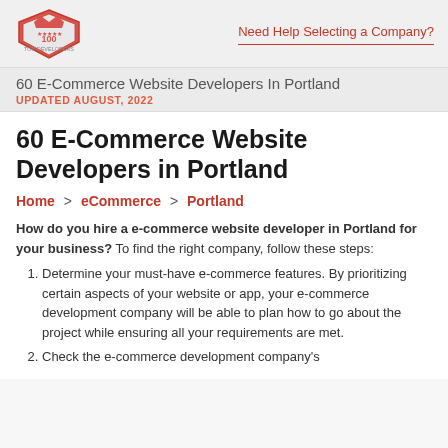Need Help Selecting a Company?
60 E-Commerce Website Developers In Portland UPDATED AUGUST, 2022
60 E-Commerce Website Developers in Portland
Home > eCommerce > Portland
How do you hire a e-commerce website developer in Portland for your business? To find the right company, follow these steps:
Determine your must-have e-commerce features. By prioritizing certain aspects of your website or app, your e-commerce development company will be able to plan how to go about the project while ensuring all your requirements are met.
Check the e-commerce development company's